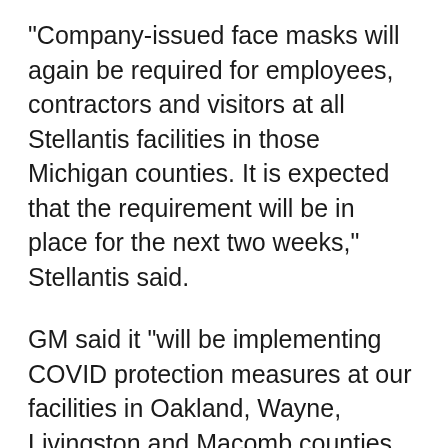"Company-issued face masks will again be required for employees, contractors and visitors at all Stellantis facilities in those Michigan counties. It is expected that the requirement will be in place for the next two weeks," Stellantis said.
GM said it "will be implementing COVID protection measures at our facilities in Oakland, Wayne, Livingston and Macomb counties, given that the CDC has now listed them as high risk."
Meanwhile, the United Auto Workers union has said if "a facility is located in